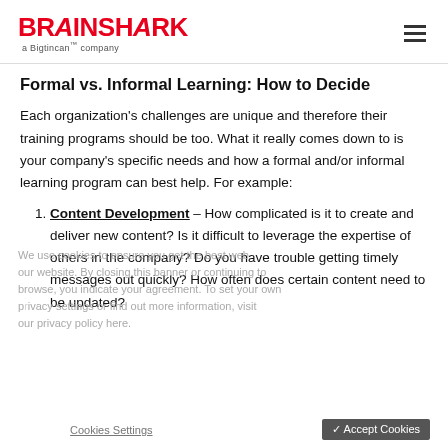BRAINSHARK a Bigtincan™ company
Formal vs. Informal Learning: How to Decide
Each organization's challenges are unique and therefore their training programs should be too. What it really comes down to is your company's specific needs and how a formal and/or informal learning program can best help. For example:
Content Development – How complicated is it to create and deliver new content? Is it difficult to leverage the expertise of others in the company? Do you have trouble getting timely messages out quickly? How often does certain content need to be updated?